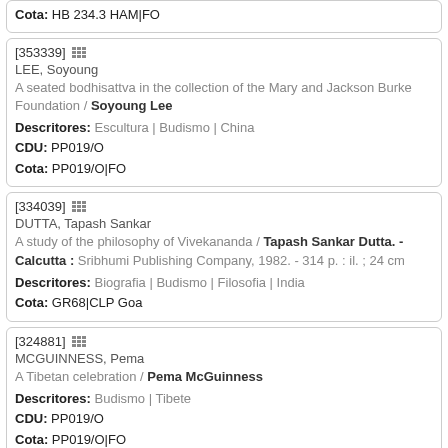[353339] LEE, Soyoung. A seated bodhisattva in the collection of the Mary and Jackson Burke Foundation / Soyoung Lee. Descritores: Escultura | Budismo | China. CDU: PP019/O. Cota: PP019/O|FO
[334039] DUTTA, Tapash Sankar. A study of the philosophy of Vivekananda / Tapash Sankar Dutta. - Calcutta : Sribhumi Publishing Company, 1982. - 314 p. : il. ; 24 cm. Descritores: Biografia | Budismo | Filosofia | India. Cota: GR68|CLP Goa
[324881] MCGUINNESS, Pema. A Tibetan celebration / Pema McGuinness. Descritores: Budismo | Tibete. CDU: PP019/O. Cota: PP019/O|FO
[353218]